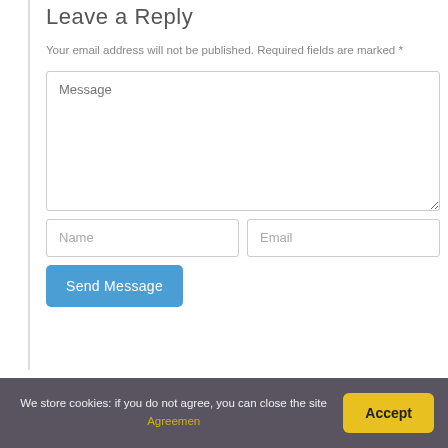Leave a Reply
Your email address will not be published. Required fields are marked *
[Figure (screenshot): A web comment form with a Message textarea, Name and Email text fields, and a Send Message button.]
We store cookies: if you do not agree, you can close the site Agreemen
Accept